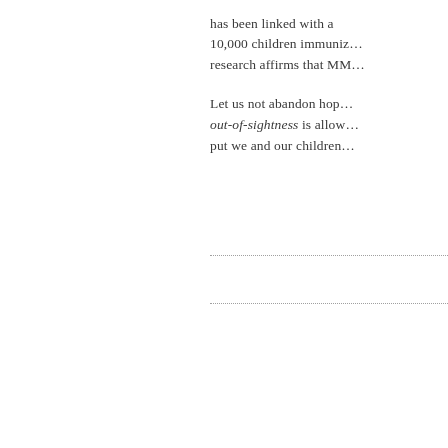has been linked with a ... 10,000 children immuniz... research affirms that MM...
Let us not abandon hop... out-of-sightness is allow... put we and our children...